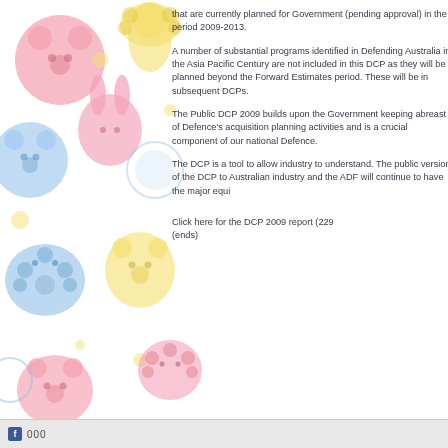[Figure (illustration): Colorful cartoon animal pattern background (bears, lions, rabbits in pink, blue, yellow) on left side of page]
that are currently planned for Government (pending approval) in the period 2009-2013.
A number of substantial programs identified in Defending Australia in the Asia Pacific Century are not included in this DCP as they will be planned beyond the Forward Estimates period. These will be in subsequent DCPs.
The Public DCP 2009 builds upon the Government keeping abreast of Defence's acquisition planning activities and is a crucial component of our national Defence.
The DCP is a tool to allow industry to understand. The public version of the DCP to Australian industry and the ADF will continue to have the major equi
Click here for the DCP 2009 report (229 (ends)
f 000